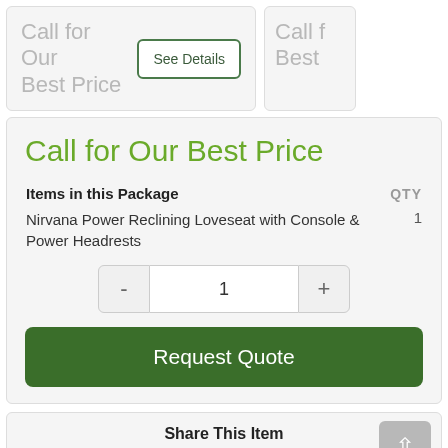Call for Our Best Price
See Details
Call f Best
Call for Our Best Price
| Items in this Package | QTY |
| --- | --- |
| Nirvana Power Reclining Loveseat with Console & Power Headrests | 1 |
- 1 +
Request Quote
Share This Item
email twitter facebook pinterest more